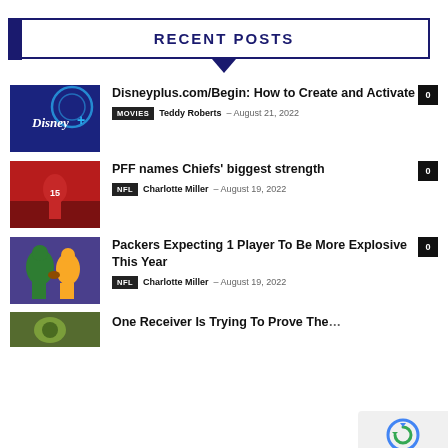RECENT POSTS
Disneyplus.com/Begin: How to Create and Activate — MOVIES — Teddy Roberts — August 21, 2022 — 0
PFF names Chiefs' biggest strength — NFL — Charlotte Miller — August 19, 2022 — 0
Packers Expecting 1 Player To Be More Explosive This Year — NFL — Charlotte Miller — August 19, 2022 — 0
One Receiver Is Trying To Prove The…